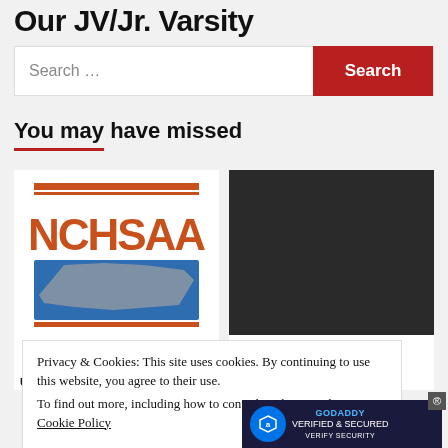Our JV/Jr. Varsity
Search ...
You may have missed
[Figure (logo): NCHSAA logo with orange text and blue state map graphic]
[Figure (photo): Dark/black image placeholder]
URGENT | NCHSAA delays
DUDLEY
Privacy & Cookies: This site uses cookies. By continuing to use this website, you agree to their use. To find out more, including how to control cookies, see here: Cookie Policy
Close and accept